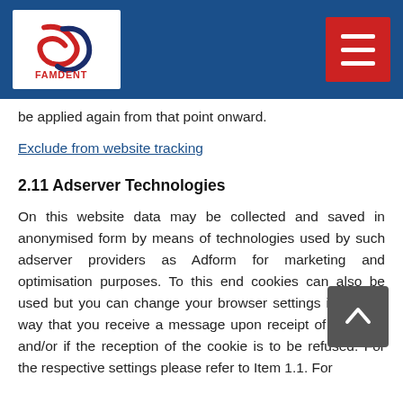FAMDENT logo and navigation header
be applied again from that point onward.
Exclude from website tracking
2.11 Adserver Technologies
On this website data may be collected and saved in anonymised form by means of technologies used by such adserver providers as Adform for marketing and optimisation purposes. To this end cookies can also be used but you can change your browser settings in such a way that you receive a message upon receipt of a cookie and/or if the reception of the cookie is to be refused. For the respective settings please refer to Item 1.1. For